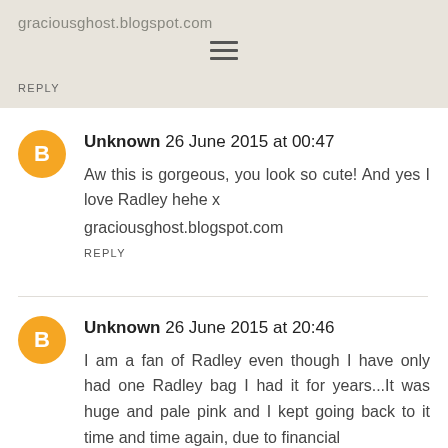graciousghost.blogspot.com
REPLY
Unknown 26 June 2015 at 00:47
Aw this is gorgeous, you look so cute! And yes I love Radley hehe x
graciousghost.blogspot.com
REPLY
Unknown 26 June 2015 at 20:46
I am a fan of Radley even though I have only had one Radley bag I had it for years...It was huge and pale pink and I kept going back to it time and time again, due to financial